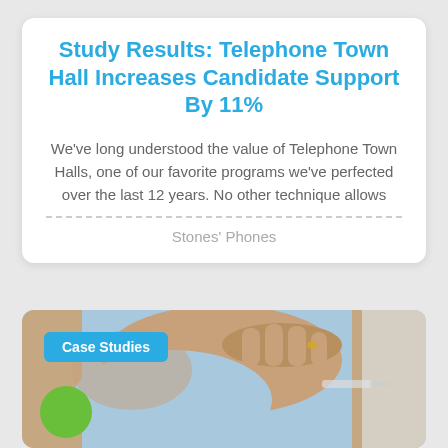Study Results: Telephone Town Hall Increases Candidate Support By 11%
We've long understood the value of Telephone Town Halls, one of our favorite programs we've perfected over the last 12 years. No other technique allows
Stones' Phones
[Figure (photo): Photo of an elderly person receiving an injection/vaccination in their arm, with a 'Case Studies' badge overlay and a green circle element.]